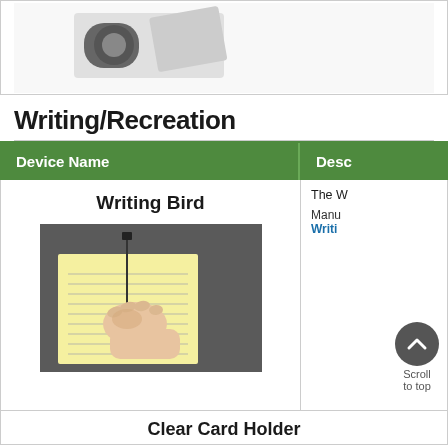[Figure (photo): Partial top image showing what appears to be a device with rollers/wheels on a white background]
Writing/Recreation
| Device Name | Description |
| --- | --- |
| Writing Bird | The W...
Manufacturer: Writi... |
| Clear Card Holder |  |
[Figure (photo): Photo of a hand writing on a yellow lined notepad using the Writing Bird device on a dark surface]
Scroll to top